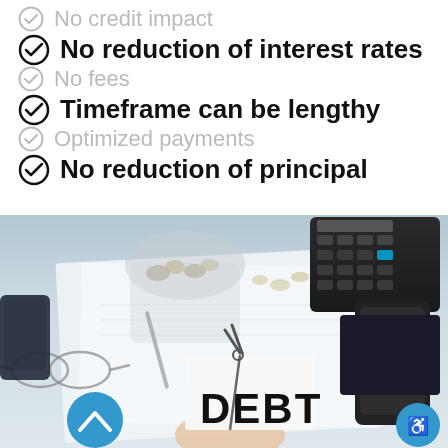No credit impact
No reduction of interest rates
No fees
Timeframe can be lengthy
Optimized payments
No reduction of principal
[Figure (photo): A desk scene showing a hand cutting the word DEBT with scissors, surrounded by a calculator, smartphone, glasses, coins in a jar, and financial documents.]